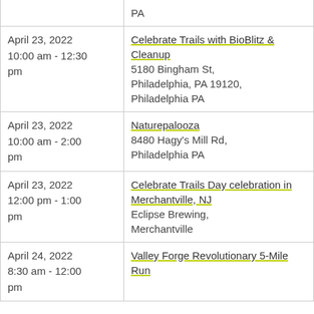| Date/Time | Event |
| --- | --- |
|  | PA |
| April 23, 2022
10:00 am - 12:30 pm | Celebrate Trails with BioBlitz & Cleanup
5180 Bingham St, Philadelphia, PA 19120, Philadelphia PA |
| April 23, 2022
10:00 am - 2:00 pm | Naturepalooza
8480 Hagy's Mill Rd, Philadelphia PA |
| April 23, 2022
12:00 pm - 1:00 pm | Celebrate Trails Day celebration in Merchantville, NJ
Eclipse Brewing, Merchantville |
| April 24, 2022
8:30 am - 12:00 pm | Valley Forge Revolutionary 5-Mile Run |